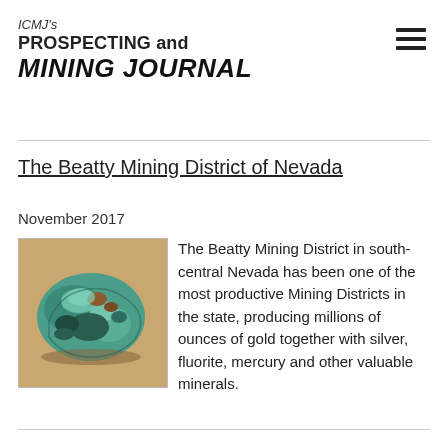ICMJ's PROSPECTING and MINING JOURNAL
The Beatty Mining District of Nevada
November 2017
[Figure (photo): A chunk of teal/green copper or turquoise mineral ore specimen sitting on a wooden surface]
The Beatty Mining District in south-central Nevada has been one of the most productive Mining Districts in the state, producing millions of ounces of gold together with silver, fluorite, mercury and other valuable minerals.